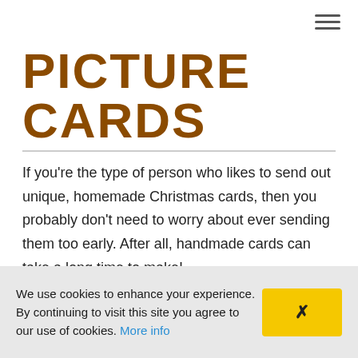[Figure (other): Hamburger menu icon (three horizontal lines) in top right corner]
PICTURE CARDS
If you're the type of person who likes to send out unique, homemade Christmas cards, then you probably don't need to worry about ever sending them too early. After all, handmade cards can take a long time to make!
What you do need to worry about is underestimating how long it takes to create hand-made cards, and
We use cookies to enhance your experience. By continuing to visit this site you agree to our use of cookies. More info